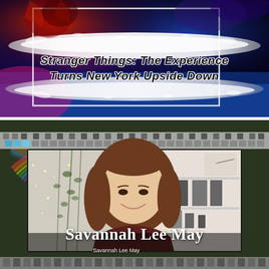[Figure (photo): Top banner showing Stranger Things: The Experience promotional image with dark blue/purple cosmic background and white paint splatter effect with glitter. A white outlined rectangle is visible. Contains the title text 'Stranger Things: The Experience Turns New York Upside Down' in bold black italic font over white paint splash.]
Stranger Things: The Experience Turns New York Upside Down
[Figure (screenshot): Video call screenshot of Savannah Lee May, a young woman with long brown hair, smiling, in front of a white curtain with hanging plant vines and fairy lights, and a white shelving unit visible. A film strip graphic overlays the top of the image. Her name 'Savannah Lee May' appears in large white serif bold text at the bottom of the frame, with a smaller subtitle label also reading 'Savannah Lee May' just below.]